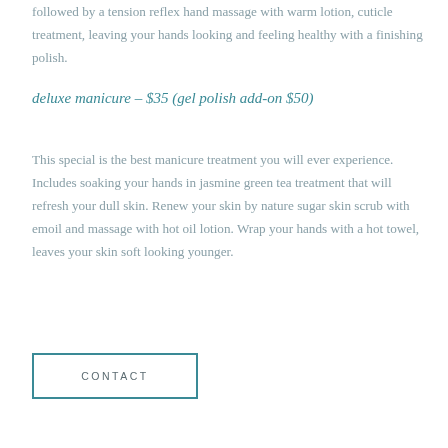followed by a tension reflex hand massage with warm lotion, cuticle treatment, leaving your hands looking and feeling healthy with a finishing polish.
deluxe manicure – $35 (gel polish add-on $50)
This special is the best manicure treatment you will ever experience. Includes soaking your hands in jasmine green tea treatment that will refresh your dull skin. Renew your skin by nature sugar skin scrub with emoil and massage with hot oil lotion. Wrap your hands with a hot towel, leaves your skin soft looking younger.
CONTACT